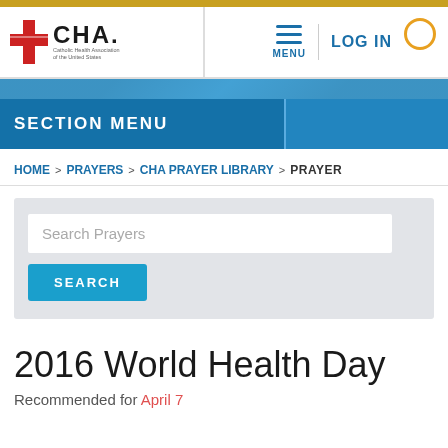[Figure (logo): CHA Catholic Health Association of the United States logo with red cross and text]
SECTION MENU
HOME > PRAYERS > CHA PRAYER LIBRARY > PRAYER
Search Prayers
SEARCH
2016 World Health Day
Recommended for April 7